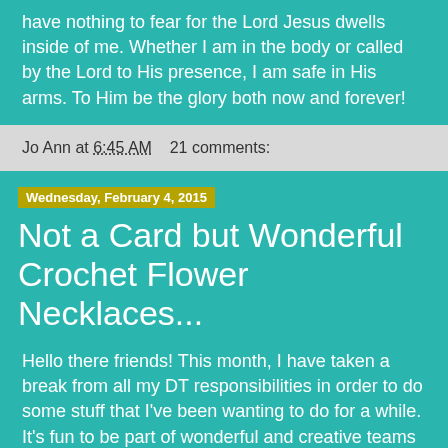have nothing to fear for the Lord Jesus dwells inside of me. Whether I am in the body or called by the Lord to His presence, I am safe in His arms.  To Him be the glory both now and forever!
Jo Ann at 6:45 AM    21 comments:
Wednesday, February 4, 2015
Not a Card but Wonderful Crochet Flower Necklaces...
Hello there friends!  This month, I have taken a break from all my DT responsibilities in order to do some stuff that I've been wanting to do for a while.  It's fun to be part of wonderful and creative teams but it can also restrict us creatively at times having to work with some specifics.  I do hope I can manage to squeeze some of the cute and funny images I wanted to highlight in future projects with the amount of time I have realizing that February is the shortest month of the year...LOL  I had some wonderful people visited